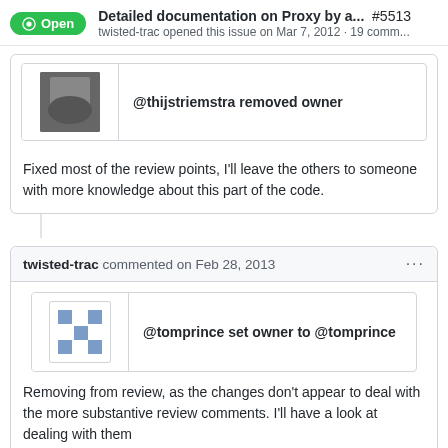Detailed documentation on Proxy by a... #5513 twisted-trac opened this issue on Mar 7, 2012 · 19 comm...
@thijstriemstra removed owner
Fixed most of the review points, I'll leave the others to someone with more knowledge about this part of the code.
twisted-trac commented on Feb 28, 2013
@tomprince set owner to @tomprince
Removing from review, as the changes don't appear to deal with the more substantive review comments. I'll have a look at dealing with them